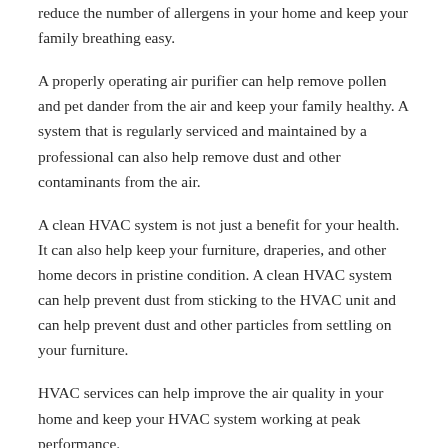reduce the number of allergens in your home and keep your family breathing easy.
A properly operating air purifier can help remove pollen and pet dander from the air and keep your family healthy. A system that is regularly serviced and maintained by a professional can also help remove dust and other contaminants from the air.
A clean HVAC system is not just a benefit for your health. It can also help keep your furniture, draperies, and other home decors in pristine condition. A clean HVAC system can help prevent dust from sticking to the HVAC unit and can help prevent dust and other particles from settling on your furniture.
HVAC services can help improve the air quality in your home and keep your HVAC system working at peak performance.
Improved Sleep